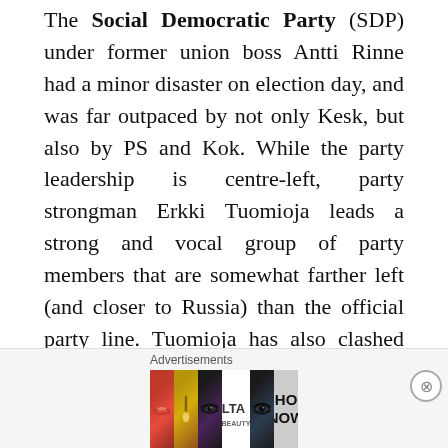The Social Democratic Party (SDP) under former union boss Antti Rinne had a minor disaster on election day, and was far outpaced by not only Kesk, but also by PS and Kok. While the party leadership is centre-left, party strongman Erkki Tuomioja leads a strong and vocal group of party members that are somewhat farther left (and closer to Russia) than the official party line. Tuomioja has also clashed publicly with a number of officers and researchers, and leaked e-mails indicates he wasn't too popular amongst the people surrounding the outgoing prime
[Figure (other): Advertisement banner for ULTA beauty with close button. Shows cosmetics imagery: lips with lipstick, makeup brush, eye with dramatic makeup, ULTA logo, another dramatic eye, and SHOP NOW call to action.]